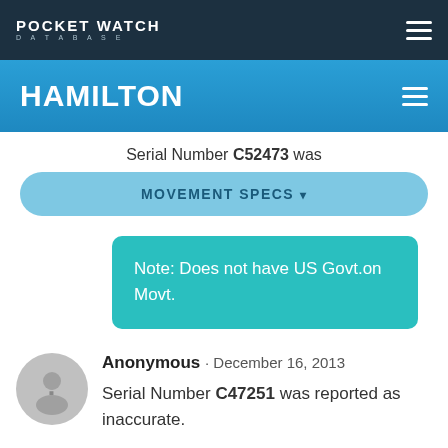POCKET WATCH DATABASE
HAMILTON
Serial Number C52473 was
MOVEMENT SPECS ▾
Note: Does not have US Govt.on Movt.
Anonymous · December 16, 2013
Serial Number C47251 was reported as inaccurate.